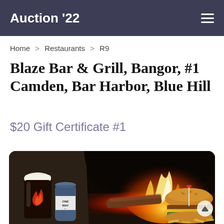Auction '22
Home > Restaurants > R9
Blaze Bar & Grill, Bangor, #1 Camden, Bar Harbor, Blue Hill
$20 Gift Certificate #1
[Figure (photo): Photo showing a wood-fired oven with flames and glowing embers, along with a glass of dark beer, a can labeled 'ONE WAY', and a burger with chips on the right side.]